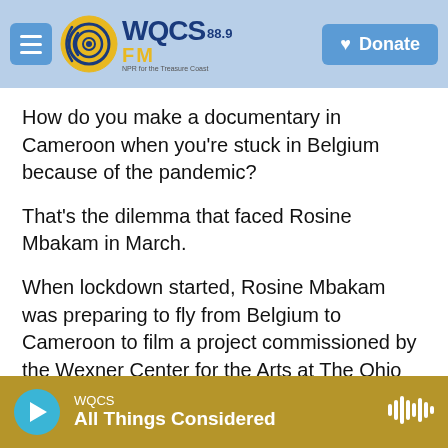WQCS 88.9 FM — NPR for the Treasure Coast | Donate
How do you make a documentary in Cameroon when you're stuck in Belgium because of the pandemic?
That's the dilemma that faced Rosine Mbakam in March.
When lockdown started, Rosine Mbakam was preparing to fly from Belgium to Cameroon to film a project commissioned by the Wexner Center for the Arts at The Ohio State University. The film would be part of a new Cinetracts series inspired by the 1968 cinematic project of the same name.
WQCS — All Things Considered